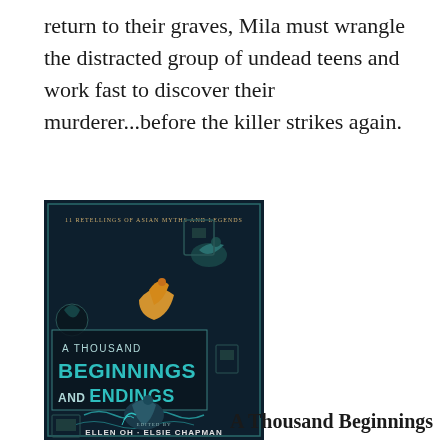return to their graves, Mila must wrangle the distracted group of undead teens and work fast to discover their murderer...before the killer strikes again.
[Figure (photo): Book cover of 'A Thousand Beginnings and Endings' edited by Ellen Oh and Elsie Chapman. Dark navy cover with illustrated Asian-inspired artwork featuring birds, mythical creatures, and architectural elements. Text on cover reads '11 Retellings of Asian Myths and Legends', 'A THOUSAND BEGINNINGS AND ENDINGS', 'EDITED BY ELLEN OH · ELSIE CHAPMAN'.]
A Thousand Beginnings